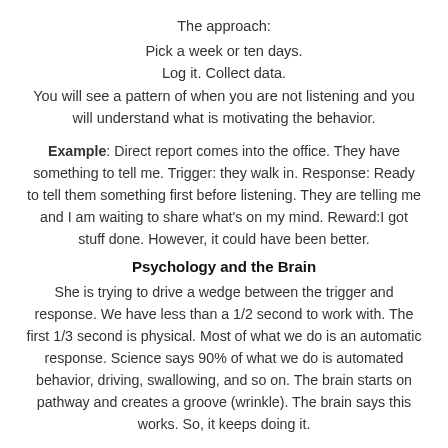The approach:
Pick a week or ten days.
Log it. Collect data.
You will see a pattern of when you are not listening and you will understand what is motivating the behavior.
Example: Direct report comes into the office. They have something to tell me. Trigger: they walk in. Response: Ready to tell them something first before listening. They are telling me and I am waiting to share what's on my mind. Reward:I got stuff done. However, it could have been better.
Psychology and the Brain
She is trying to drive a wedge between the trigger and response. We have less than a 1/2 second to work with. The first 1/3 second is physical. Most of what we do is an automatic response. Science says 90% of what we do is automated behavior, driving, swallowing, and so on. The brain starts on pathway and creates a groove (wrinkle). The brain says this works. So, it keeps doing it.